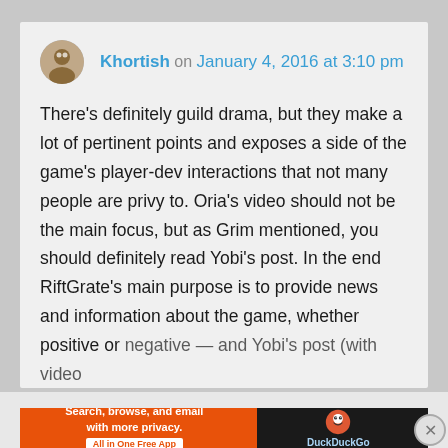Khortish on January 4, 2016 at 3:10 pm
There’s definitely guild drama, but they make a lot of pertinent points and exposes a side of the game’s player-dev interactions that not many people are privy to. Oria’s video should not be the main focus, but as Grim mentioned, you should definitely read Yobi’s post. In the end RiftGrate’s main purpose is to provide news and information about the game, whether positive or negative — and Yobi’s post (with video
Advertisements
[Figure (screenshot): DuckDuckGo advertisement banner: Search, browse, and email with more privacy. All in One Free App.]